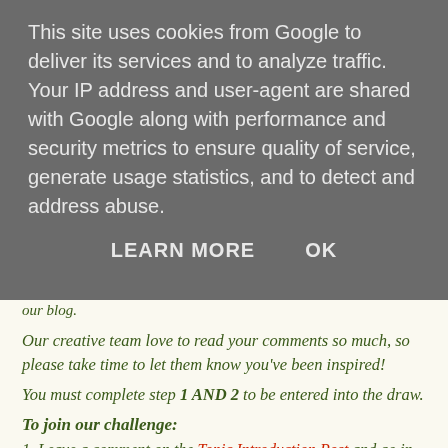This site uses cookies from Google to deliver its services and to analyze traffic. Your IP address and user-agent are shared with Google along with performance and security metrics to ensure quality of service, generate usage statistics, and to detect and address abuse.
LEARN MORE   OK
our blog.
Our creative team love to read your comments so much, so please take time to let them know you've been inspired!
You must complete step 1 AND 2 to be entered into the draw.
To join our challenge:
1. Leave a comment on the Topic Introduction Post and go in the draw to win a PaperArtsy Apron.
2. Make something arty relevant to the topic, and link your creation from any social URL (eg. Instagram, Pinterest, Blog Post etc) sharing your original make to this challenge page.